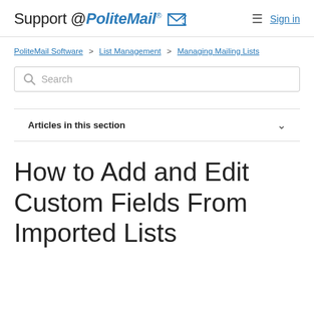Support @PoliteMail [envelope icon] Sign in
PoliteMail Software > List Management > Managing Mailing Lists
Search
Articles in this section
How to Add and Edit Custom Fields From Imported Lists